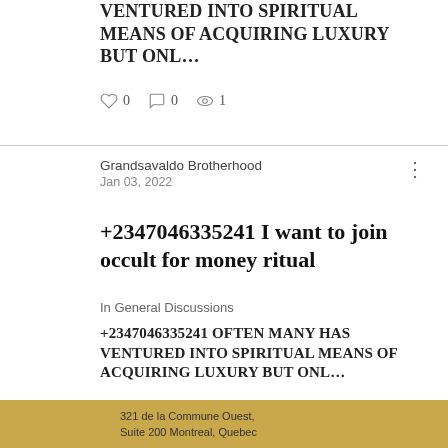VENTURED INTO SPIRITUAL MEANS OF ACQUIRING LUXURY BUT ONL…
0  0  1
Grandsavaldo Brotherhood
Jan 03, 2022
+2347046335241 I want to join occult for money ritual
In General Discussions
+2347046335241 OFTEN MANY HAS VENTURED INTO SPIRITUAL MEANS OF ACQUIRING LUXURY BUT ONL…
0  0  1
321 de la Commune Ouest, Suite 200 Montreal, Quebec